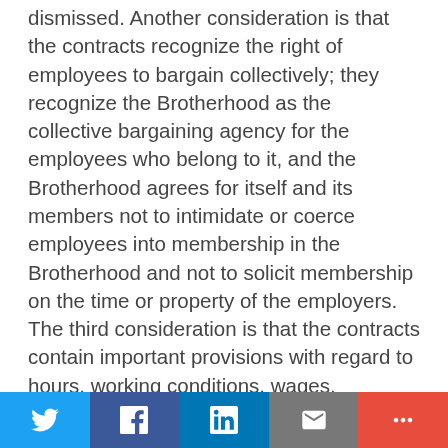dismissed. Another consideration is that the contracts recognize the right of employees to bargain collectively; they recognize the Brotherhood as the collective bargaining agency for the employees who belong to it, and the Brotherhood agrees for itself and its members not to intimidate or coerce employees into membership in the Brotherhood and not to solicit membership on the time or property of the employers. The third consideration is that the contracts contain important provisions with regard to hours, working conditions, wages, sickness, disability, etc., and also provide against strikes or lockouts and for the adjustment and arbitration of labor disputes, thus constituting insuance against the disruption of the service of the companies to interstate or foreign commerce through an outbreak of industrial strife. It is not contended that these provisions are unreasonable or oppressive but on the contrary it was virtually conceded at the bar that they are fair to both the
Twitter | Facebook | LinkedIn | Email | More